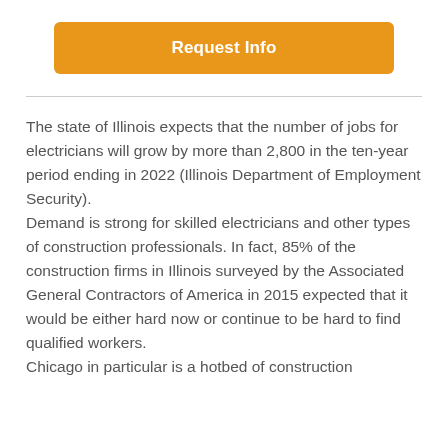Request Info
The state of Illinois expects that the number of jobs for electricians will grow by more than 2,800 in the ten-year period ending in 2022 (Illinois Department of Employment Security).
Demand is strong for skilled electricians and other types of construction professionals. In fact, 85% of the construction firms in Illinois surveyed by the Associated General Contractors of America in 2015 expected that it would be either hard now or continue to be hard to find qualified workers.
Chicago in particular is a hotbed of construction...